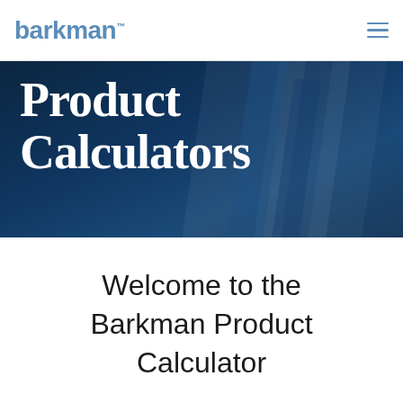barkman
Product Calculators
Welcome to the Barkman Product Calculator